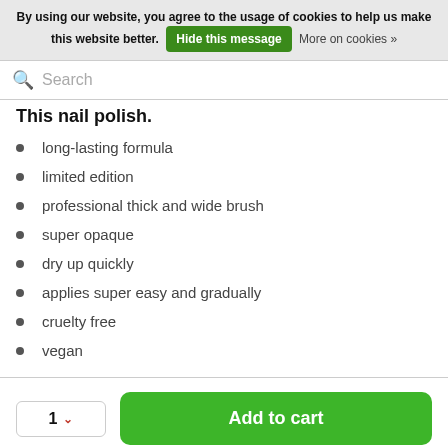By using our website, you agree to the usage of cookies to help us make this website better. Hide this message More on cookies »
Search
This nail polish.
long-lasting formula
limited edition
professional thick and wide brush
super opaque
dry up quickly
applies super easy and gradually
cruelty free
vegan
1 ▾ Add to cart